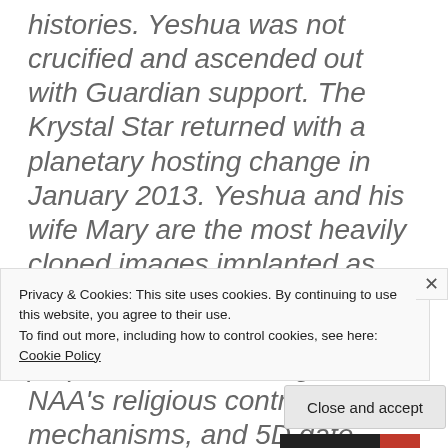histories. Yeshua was not crucified and ascended out with Guardian support. The Krystal Star returned with a planetary hosting change in January 2013. Yeshua and his wife Mary are the most heavily cloned images implanted as holographic inserts in the earth's artificial timelines for the purpose of maintaining the NAA's religious control mechanisms, and 5D gate access from Vatican City that
Privacy & Cookies: This site uses cookies. By continuing to use this website, you agree to their use.
To find out more, including how to control cookies, see here: Cookie Policy
Close and accept